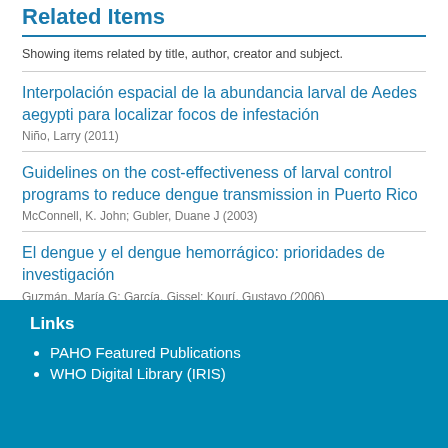Related Items
Showing items related by title, author, creator and subject.
Interpolación espacial de la abundancia larval de Aedes aegypti para localizar focos de infestación
Niño, Larry (2011)
Guidelines on the cost-effectiveness of larval control programs to reduce dengue transmission in Puerto Rico
McConnell, K. John; Gubler, Duane J (2003)
El dengue y el dengue hemorrágico: prioridades de investigación
Guzmán, María G; García, Gissel; Kourí, Gustavo (2006)
Links
PAHO Featured Publications
WHO Digital Library (IRIS)